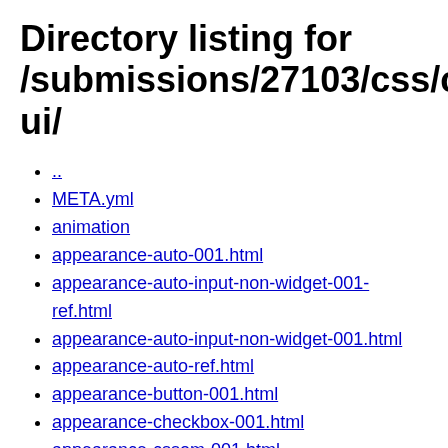Directory listing for /submissions/27103/css/css-ui/
..
META.yml
animation
appearance-auto-001.html
appearance-auto-input-non-widget-001-ref.html
appearance-auto-input-non-widget-001.html
appearance-auto-ref.html
appearance-button-001.html
appearance-checkbox-001.html
appearance-cssom-001.html
appearance-initial-value-001.html
appearance-listbox-001.html
appearance-menulist-001.html
appearance-menulist-button-001.html
appearance-menulist-button-002.tentative.html
appearance-meter-001.html
appearance-parsing.html
appearance-progress-bar-001.html
appearance-progress-bar-002-ref.html